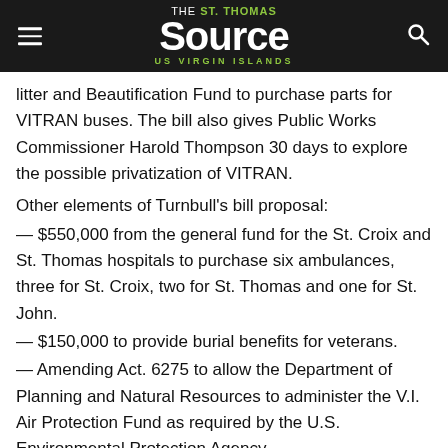THE St. Thomas Source — US VIRGIN ISLANDS
litter and Beautification Fund to purchase parts for VITRAN buses. The bill also gives Public Works Commissioner Harold Thompson 30 days to explore the possible privatization of VITRAN.
Other elements of Turnbull's bill proposal:
— $550,000 from the general fund for the St. Croix and St. Thomas hospitals to purchase six ambulances, three for St. Croix, two for St. Thomas and one for St. John.
— $150,000 to provide burial benefits for veterans.
— Amending Act. 6275 to allow the Department of Planning and Natural Resources to administer the V.I. Air Protection Fund as required by the U.S. Environmental Protection Agency.
— $30,000 to the Fire Service for equipment.
— $10,000 for DPW to repair and maintain its garbage trucks.